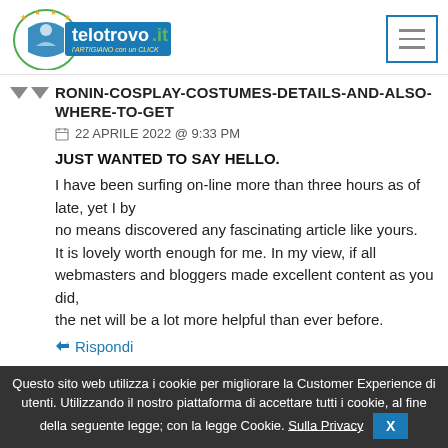telotrovo.it — l'ARTIGIANO con un CLICK
RONIN-COSPLAY-COSTUMES-DETAILS-AND-ALSO-WHERE-TO-GET
22 APRILE 2022 @ 9:33 PM
JUST WANTED TO SAY HELLO.
I have been surfing on-line more than three hours as of late, yet I by no means discovered any fascinating article like yours.
It is lovely worth enough for me. In my view, if all webmasters and bloggers made excellent content as you did,
the net will be a lot more helpful than ever before.
Rispondi
Questo sito web utilizza i cookie per migliorare la Customer Experience di utenti. Utilizzando il nostro piattaforma di accettare tutti i cookie, al fine della seguente legge; con la legge Cookie. Sulla Privacy  X